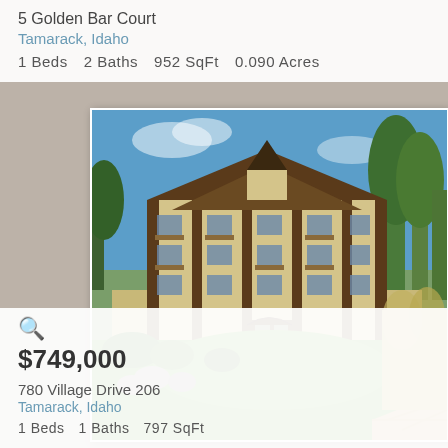5 Golden Bar Court
Tamarack, Idaho
1 Beds   2 Baths   952 SqFt   0.090 Acres
[Figure (photo): Exterior photo of a large multi-story Alpine-style condominium building with balconies, surrounded by green lawn, trees, and landscaping under a blue sky]
$749,000
780 Village Drive 206
Tamarack, Idaho
1 Beds   1 Baths   797 SqFt